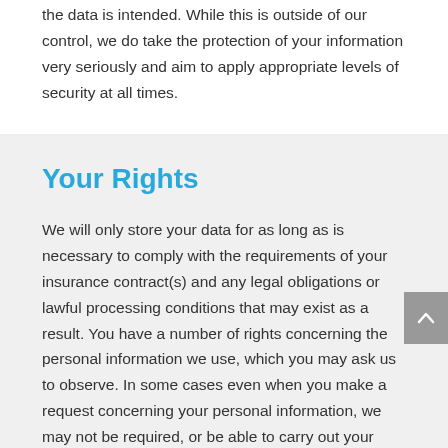the data is intended. While this is outside of our control, we do take the protection of your information very seriously and aim to apply appropriate levels of security at all times.
Your Rights
We will only store your data for as long as is necessary to comply with the requirements of your insurance contract(s) and any legal obligations or lawful processing conditions that may exist as a result. You have a number of rights concerning the personal information we use, which you may ask us to observe. In some cases even when you make a request concerning your personal information, we may not be required, or be able to carry out your request as this may result in us not being able to fulfil our legal and regulatory obligations under the lawful